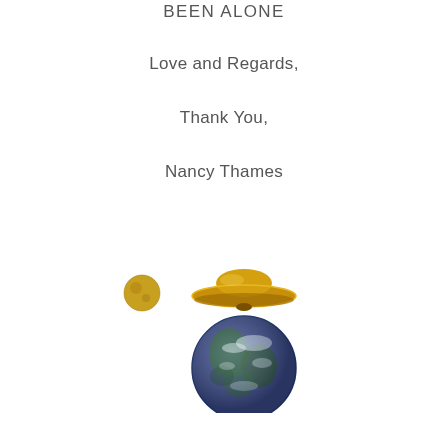BEEN ALONE
Love and Regards,
Thank You,
Nancy Thames
[Figure (illustration): Illustration of a UFO/flying saucer above a globe of Earth, with a small moon-like body to the left]